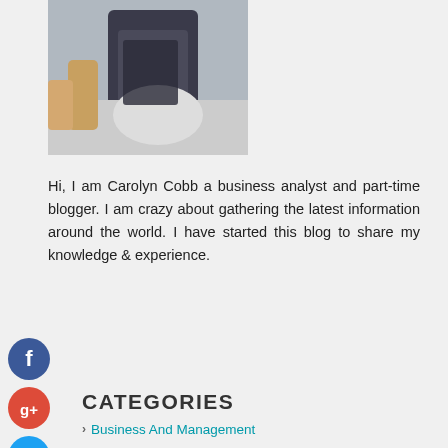[Figure (photo): Photo of a person in dark clothing, sitting, with a decorative white sculpture/figure visible in the background]
Hi, I am Carolyn Cobb a business analyst and part-time blogger. I am crazy about gathering the latest information around the world. I have started this blog to share my knowledge & experience.
[Figure (logo): Facebook social media icon - blue circle with white f]
[Figure (logo): Google Plus social media icon - red circle with white g+]
[Figure (logo): Twitter social media icon - blue circle with white bird]
[Figure (logo): Add/Plus social media icon - dark circle with white plus]
CATEGORIES
Business And Management
Education
Health and Fitness
Home and Garden
Legal
Marketing and Advertising